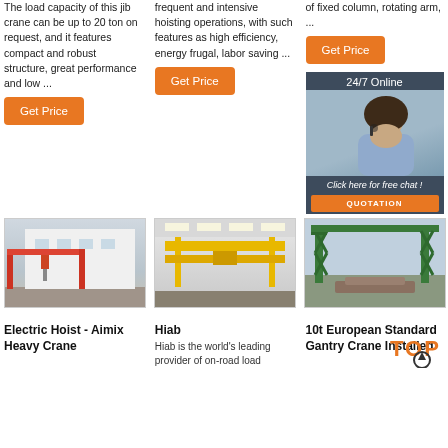The load capacity of this jib crane can be up to 20 ton on request, and it features compact and robust structure, great performance and low ...
frequent and intensive hoisting operations, with such features as high efficiency, energy frugal, labor saving ...
of fixed column, rotating arm, ...
[Figure (other): Orange Get Price button]
[Figure (other): Orange Get Price button]
[Figure (other): Orange Get Price button]
[Figure (other): 24/7 Online chat widget with woman wearing headset]
[Figure (photo): Red and white electric hoist single girder gantry crane in outdoor facility]
[Figure (photo): Yellow double girder overhead crane inside industrial warehouse]
[Figure (photo): Green gantry crane structure outdoors with scrap yard]
Electric Hoist - Aimix Heavy Crane
Hiab
Hiab is the world's leading provider of on-road load
10t European Standard Gantry Crane Installed